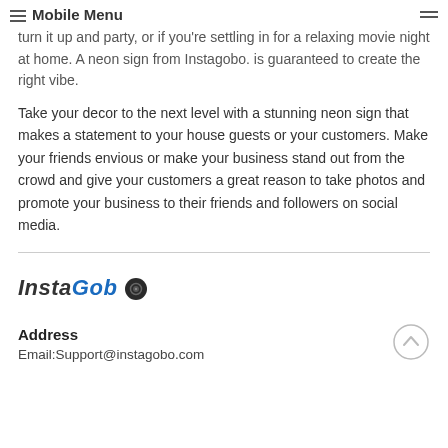Mobile Menu
turn it up and party, or if you're settling in for a relaxing movie night at home. A neon sign from Instagobo. is guaranteed to create the right vibe.
Take your decor to the next level with a stunning neon sign that makes a statement to your house guests or your customers. Make your friends envious or make your business stand out from the crowd and give your customers a great reason to take photos and promote your business to their friends and followers on social media.
[Figure (logo): InstaGobo logo with italic text 'Insta' in dark gray and 'Gob' in blue, followed by a camera lens icon]
Address
Email:Support@instagobo.com